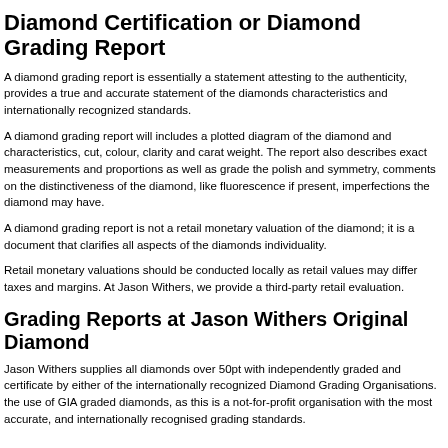Diamond Certification or Diamond Grading Report
A diamond grading report is essentially a statement attesting to the authenticity, provides a true and accurate statement of the diamonds characteristics and internationally recognized standards.
A diamond grading report will includes a plotted diagram of the diamond and characteristics, cut, colour, clarity and carat weight. The report also describes exact measurements and proportions as well as grade the polish and symmetry, comments on the distinctiveness of the diamond, like fluorescence if present, imperfections the diamond may have.
A diamond grading report is not a retail monetary valuation of the diamond; it is a document that clarifies all aspects of the diamonds individuality.
Retail monetary valuations should be conducted locally as retail values may differ taxes and margins. At Jason Withers, we provide a third-party retail evaluation.
Grading Reports at Jason Withers Original Diamond
Jason Withers supplies all diamonds over 50pt with independently graded and certificate by either of the internationally recognized Diamond Grading Organisations. the use of GIA graded diamonds, as this is a not-for-profit organisation with the most accurate, and internationally recognised grading standards.